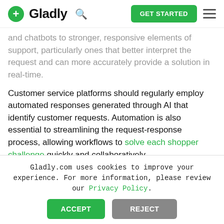Gladly — GET STARTED
and chatbots to stronger, responsive elements of support, particularly ones that better interpret the request and can more accurately provide a solution in real-time.
Customer service platforms should regularly employ automated responses generated through AI that identify customer requests. Automation is also essential to streamlining the request-response process, allowing workflows to solve each shopper challenge quickly and collaboratively.
Gladly.com uses cookies to improve your experience. For more information, please review our Privacy Policy.